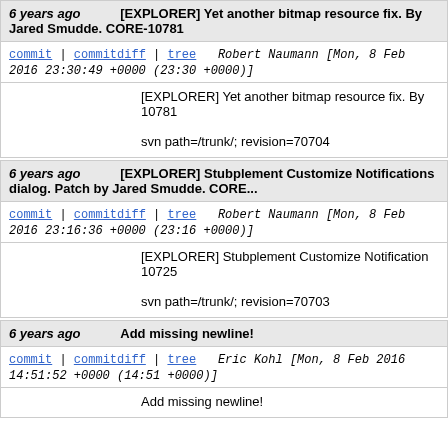6 years ago   [EXPLORER] Yet another bitmap resource fix. By Jared Smudde. CORE-10781
commit | commitdiff | tree   Robert Naumann [Mon, 8 Feb 2016 23:30:49 +0000 (23:30 +0000)]
[EXPLORER] Yet another bitmap resource fix. By 10781

svn path=/trunk/; revision=70704
6 years ago   [EXPLORER] Stubplement Customize Notifications dialog. Patch by Jared Smudde. CORE...
commit | commitdiff | tree   Robert Naumann [Mon, 8 Feb 2016 23:16:36 +0000 (23:16 +0000)]
[EXPLORER] Stubplement Customize Notifications 10725

svn path=/trunk/; revision=70703
6 years ago   Add missing newline!
commit | commitdiff | tree   Eric Kohl [Mon, 8 Feb 2016 14:51:52 +0000 (14:51 +0000)]
Add missing newline!